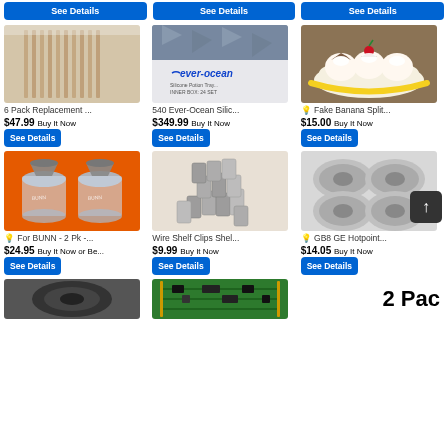[Figure (screenshot): eBay product listing page showing 6 items in a 3-column grid with product images, titles, prices, and See Details buttons]
6 Pack Replacement ... $47.99 Buy It Now
540 Ever-Ocean Silic... $349.99 Buy It Now
Fake Banana Split... $15.00 Buy It Now
For BUNN - 2 Pk -... $24.95 Buy It Now or Be...
Wire Shelf Clips Shel... $9.99 Buy It Now
GB8 GE Hotpoint... $14.05 Buy It Now
2 Pac